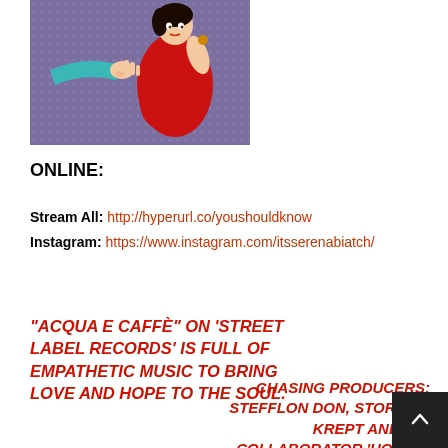[Figure (illustration): Pop-art style illustration showing two figures — one in a red dress being stopped by someone in a teal/light blue outfit. Purple dotted background. Comic/pop-art style.]
ONLINE:
Stream All: http://hyperurl.co/youshouldknow
Instagram: https://www.instagram.com/itsserenabiatch/
“ACQUA E CAFFÈ” ON ‘STREET LABEL RECORDS’ IS FULL OF EMPATHETIC MUSIC TO BRING LOVE AND HOPE TO THE SOUL.
CHASING PRODUCERS: STEFFLON DON, STORMZY, KREPT AND ‘KO… COLLABORATOR ‘HOT MO… SPEAKS